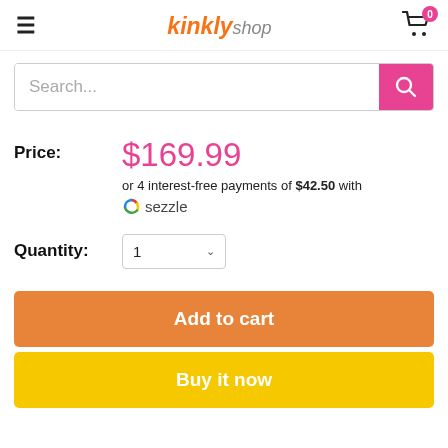kinkly shop — navigation header with hamburger menu and cart (0 items)
Search...
Price: $169.99 or 4 interest-free payments of $42.50 with Sezzle
Quantity: 1
Add to cart
Buy it now